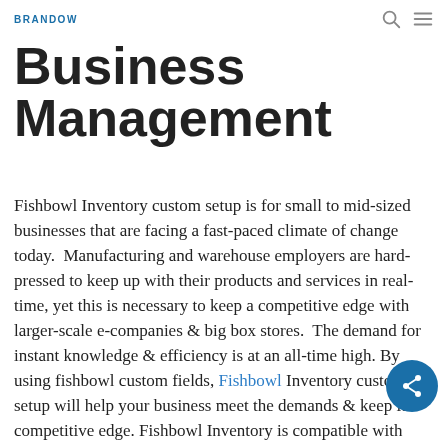BRANDOW
Custom Setup For Business Management
Fishbowl Inventory custom setup is for small to mid-sized businesses that are facing a fast-paced climate of change today.  Manufacturing and warehouse employers are hard-pressed to keep up with their products and services in real-time, yet this is necessary to keep a competitive edge with larger-scale e-companies & big box stores.  The demand for instant knowledge & efficiency is at an all-time high. By using fishbowl custom fields, Fishbowl Inventory custom setup will help your business meet the demands & keep its competitive edge. Fishbowl Inventory is compatible with Quickbooks and Xero via